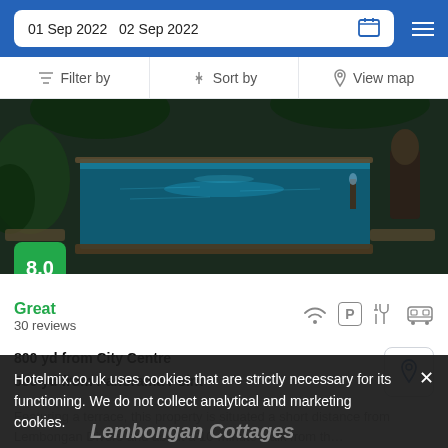01 Sep 2022  02 Sep 2022
Filter by  Sort by  View map
[Figure (photo): Infinity pool at a tropical resort with lush greenery and stone surroundings]
8.0
Great
30 reviews
800 yd from City Centre
500 yd from Panorama Point
Featuring a terrace, this property is situated a short distance from Lembongan Divers and about a 10-minute walk from th…
from £ 21 /night
SELECT
Hotelmix.co.uk uses cookies that are strictly necessary for its functioning. We do not collect analytical and marketing cookies.
Lembongan Cottages